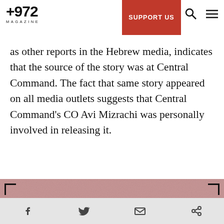+972 MAGAZINE | SUPPORT US
as other reports in the Hebrew media, indicates that the source of the story was at Central Command. The fact that same story appeared on all media outlets suggests that Central Command's CO Avi Mizrachi was personally involved in releasing it.
[Figure (infographic): Advertisement banner with speckled red/pink background and corner brackets. Text reads: 'Expose injustice. Change the conversation.' with a red button 'Support +972']
After the protest, Palestinian sources claimed that Jawahar Abu Rahmah stood on a hill near her
Social share icons: Facebook, Twitter, Email, Link